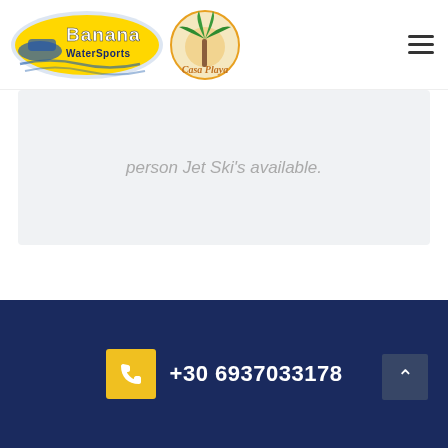[Figure (logo): Banana Watersports and Casa Playa combined logo header]
person Jet Ski's available.
[Figure (other): Left and right navigation arrows for slideshow]
+30 6937033178